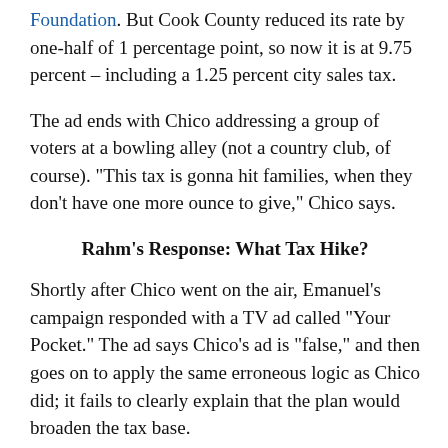Foundation. But Cook County reduced its rate by one-half of 1 percentage point, so now it is at 9.75 percent – including a 1.25 percent city sales tax.
The ad ends with Chico addressing a group of voters at a bowling alley (not a country club, of course). "This tax is gonna hit families, when they don't have one more ounce to give," Chico says.
Rahm's Response: What Tax Hike?
Shortly after Chico went on the air, Emanuel's campaign responded with a TV ad called "Your Pocket." The ad says Chico's ad is "false," and then goes on to apply the same erroneous logic as Chico did; it fails to clearly explain that the plan would broaden the tax base.